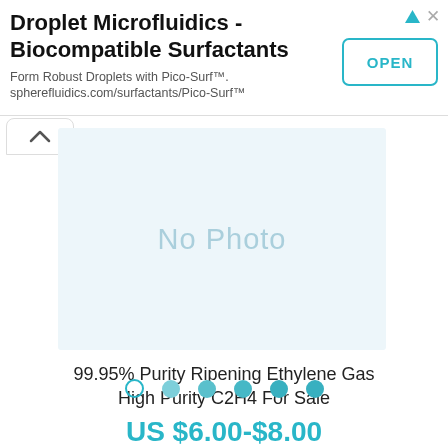[Figure (screenshot): Advertisement banner for Droplet Microfluidics - Biocomapatible Surfactants with OPEN button]
Droplet Microfluidics - Biocompatible Surfactants
Form Robust Droplets with Pico-Surf™. spherefluidics.com/surfactants/Pico-Surf™
[Figure (photo): No Photo placeholder image area in light blue]
99.95% Purity Ripening Ethylene Gas High Purity C2H4 For Sale
US $6.00-$8.00